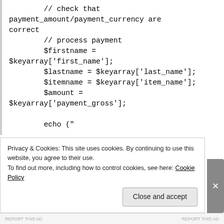// check that payment_amount/payment_currency are correct
        // process payment
        $firstname = $keyarray['first_name'];
        $lastname = $keyarray['last_name'];
        $itemname = $keyarray['item_name'];
        $amount = $keyarray['payment_gross'];

        echo ("<p><h3>Thank you for your purchase!</h3></p>");
Privacy & Cookies: This site uses cookies. By continuing to use this website, you agree to their use.
To find out more, including how to control cookies, see here: Cookie Policy